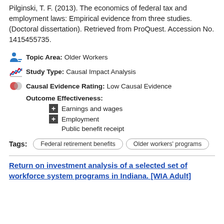Pilginski, T. F. (2013). The economics of federal tax and employment laws: Empirical evidence from three studies. (Doctoral dissertation). Retrieved from ProQuest. Accession No. 1415455735.
Topic Area: Older Workers
Study Type: Causal Impact Analysis
Causal Evidence Rating: Low Causal Evidence
Outcome Effectiveness:
Earnings and wages
Employment
Public benefit receipt
Tags: Federal retirement benefits  Older workers' programs
Return on investment analysis of a selected set of workforce system programs in Indiana. [WIA Adult]